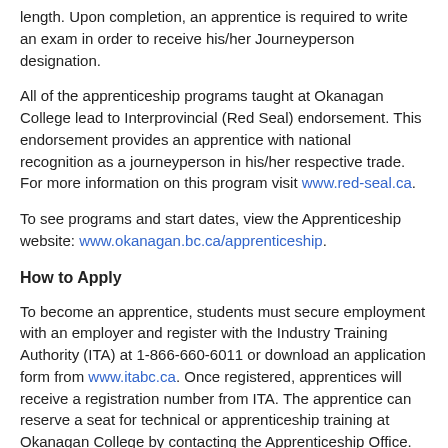length. Upon completion, an apprentice is required to write an exam in order to receive his/her Journeyperson designation.
All of the apprenticeship programs taught at Okanagan College lead to Interprovincial (Red Seal) endorsement. This endorsement provides an apprentice with national recognition as a journeyperson in his/her respective trade. For more information on this program visit www.red-seal.ca.
To see programs and start dates, view the Apprenticeship website: www.okanagan.bc.ca/apprenticeship.
How to Apply
To become an apprentice, students must secure employment with an employer and register with the Industry Training Authority (ITA) at 1-866-660-6011 or download an application form from www.itabc.ca. Once registered, apprentices will receive a registration number from ITA. The apprentice can reserve a seat for technical or apprenticeship training at Okanagan College by contacting the Apprenticeship Office. The apprenticeship training programs are offered to registered apprentices as part of the provincial training requirement, which is developed in cooperation with the Ministry of Advanced Education and Labour Market